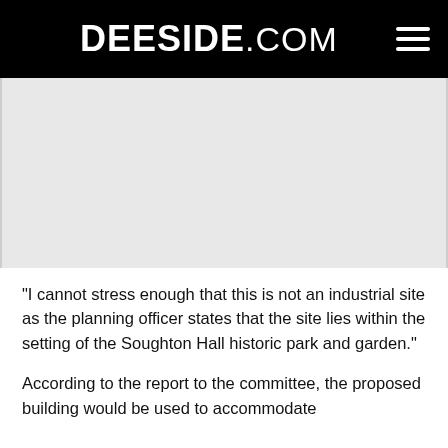DEESIDE.COM
[Figure (other): Advertisement/blank gray area placeholder]
“I cannot stress enough that this is not an industrial site as the planning officer states that the site lies within the setting of the Soughton Hall historic park and garden.”
According to the report to the committee, the proposed building would be used to accommodate